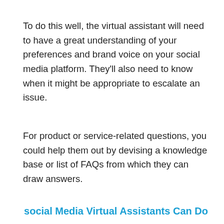To do this well, the virtual assistant will need to have a great understanding of your preferences and brand voice on your social media platform. They'll also need to know when it might be appropriate to escalate an issue.
For product or service-related questions, you could help them out by devising a knowledge base or list of FAQs from which they can draw answers.
social Media Virtual Assistants Can Do